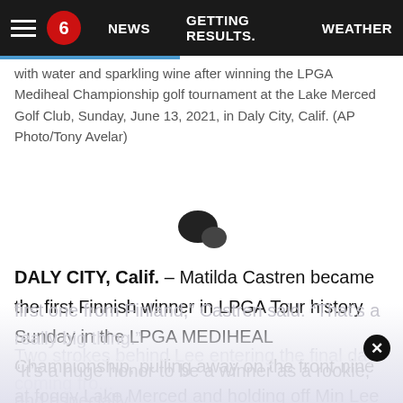NEWS | GETTING RESULTS. | WEATHER
with water and sparkling wine after winning the LPGA Mediheal Championship golf tournament at the Lake Merced Golf Club, Sunday, June 13, 2021, in Daly City, Calif. (AP Photo/Tony Avelar)
[Figure (illustration): Chat/comment bubble icon]
DALY CITY, Calif. – Matilda Castren became the first Finnish winner in LPGA Tour history Sunday in the LPGA MEDIHEAL Championship, pulling away on the front-nine at foggy Lake Merced and holding off Min Lee by two strokes.
“It’s a huge honor to be a winner as a rookie, and especially first one from Finland,” Castren said. “That’s a really big thing.”
Two strokes behind Lee entering the final day coming from...